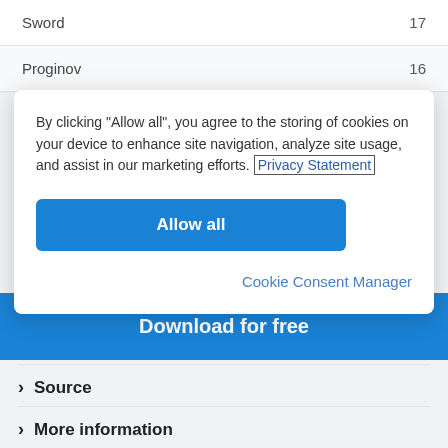Sword  17
Proginov  16
Mote 1  16
By clicking “Allow all”, you agree to the storing of cookies on your device to enhance site navigation, analyze site usage, and assist in our marketing efforts. Privacy Statement
Allow all
Cookie Consent Manager
Download for free
> Source
> More information